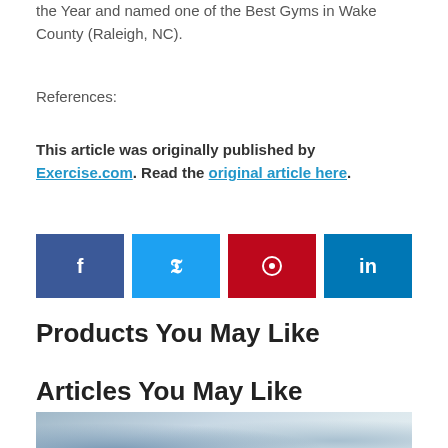the Year and named one of the Best Gyms in Wake County (Raleigh, NC).
References:
This article was originally published by Exercise.com. Read the original article here.
[Figure (infographic): Social share buttons: Facebook (dark blue), Twitter (light blue), Pinterest (red), LinkedIn (dark blue)]
Products You May Like
Articles You May Like
[Figure (photo): Partially visible outdoor photo showing a transgender pride flag and blurred crowd in background]